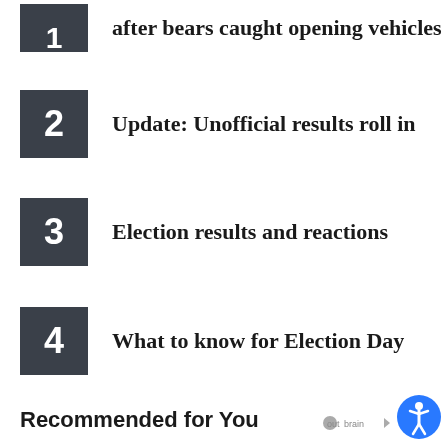after bears caught opening vehicles
Update: Unofficial results roll in
Election results and reactions
What to know for Election Day
Anchorage inmate dies in custody
Recommended for You